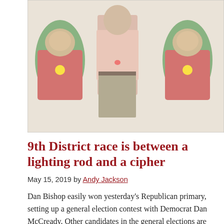[Figure (photo): Photo showing a man in a pink shirt and gray pants standing in center, with political figures' faces composited onto doll-like figures wearing colorful clown/holiday outfits on either side of him.]
9th District race is between a lighting rod and a cipher
May 15, 2019 by Andy Jackson
Dan Bishop easily won yesterday’s Republican primary, setting up a general election contest with Democrat Dan McCready. Other candidates in the general elections are Libertarian …
KEEP READING